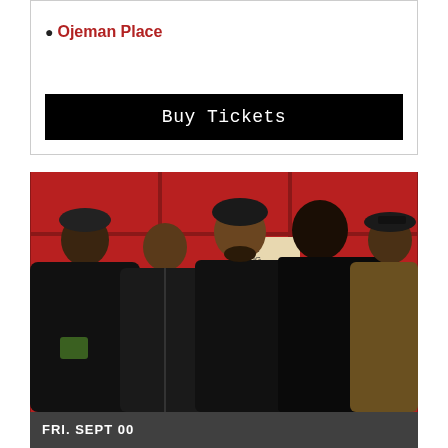Ojeman Place
Buy Tickets
[Figure (photo): Group photo of five people wearing dark hoodies and jackets, standing in front of a red door background]
FRI. SEPT 00